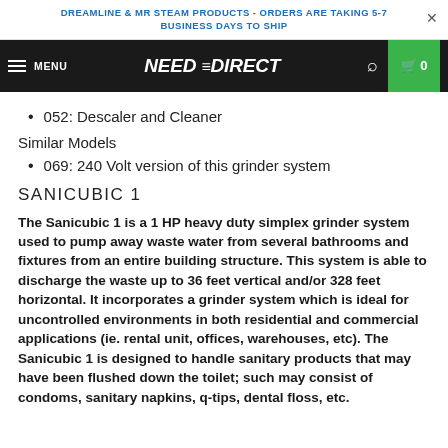DREAMLINE & MR STEAM PRODUCTS - ORDERS ARE TAKING 5-7 BUSINESS DAYS TO SHIP
NEED =DIRECT  MENU  0
052: Descaler and Cleaner
Similar Models
069: 240 Volt version of this grinder system
SANICUBIC 1
The Sanicubic 1 is a 1 HP heavy duty simplex grinder system used to pump away waste water from several bathrooms and fixtures from an entire building structure. This system is able to discharge the waste up to 36 feet vertical and/or 328 feet horizontal. It incorporates a grinder system which is ideal for uncontrolled environments in both residential and commercial applications (ie. rental unit, offices, warehouses, etc). The Sanicubic 1 is designed to handle sanitary products that may have been flushed down the toilet; such may consist of condoms, sanitary napkins, q-tips, dental floss, etc.